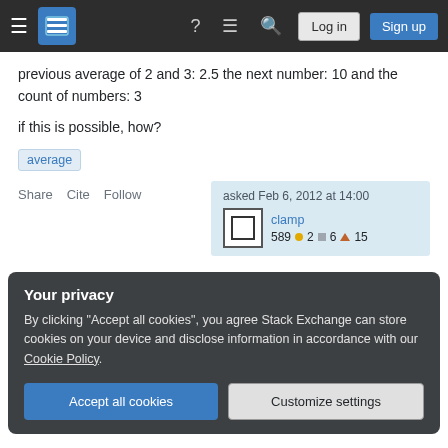Stack Exchange navigation bar with Log in and Sign up buttons
previous average of 2 and 3: 2.5 the next number: 10 and the count of numbers: 3
if this is possible, how?
average (tag)
Share   Cite   Follow   asked Feb 6, 2012 at 14:00   clamp   589 ●2 ■6 ▲15
Your privacy
By clicking "Accept all cookies", you agree Stack Exchange can store cookies on your device and disclose information in accordance with our Cookie Policy.
Accept all cookies   Customize settings
average. Let the average of the first n numbers be μ_n.